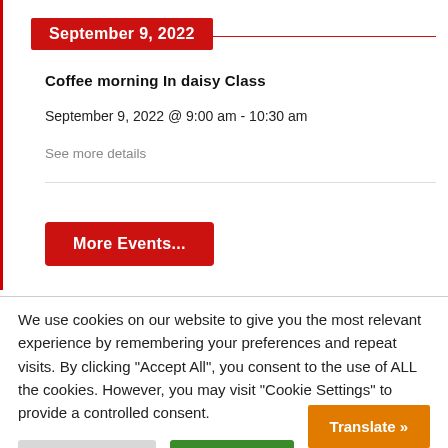September 9, 2022
Coffee morning In daisy Class
September 9, 2022 @ 9:00 am - 10:30 am
See more details
More Events...
We use cookies on our website to give you the most relevant experience by remembering your preferences and repeat visits. By clicking "Accept All", you consent to the use of ALL the cookies. However, you may visit "Cookie Settings" to provide a controlled consent.
Cookie Settings
Accept All
Translate »